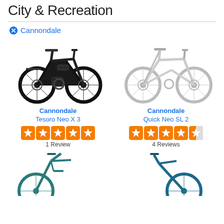City & Recreation
Cannondale
[Figure (photo): Black Cannondale Tesoro Neo X 3 e-bike on white background]
Cannondale
Tesoro Neo X 3
1 Review
[Figure (photo): White Cannondale Quick Neo SL 2 bike on white background]
Cannondale
Quick Neo SL 2
4 Reviews
[Figure (photo): Teal/dark bike partially visible at bottom left]
[Figure (photo): Teal/dark bike partially visible at bottom right]